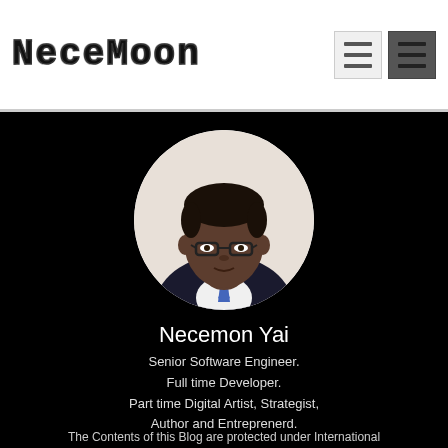NeceMoon
[Figure (photo): Circular profile photo of Necemon Yai, a young man wearing glasses and a suit with a blue tie, against a white background]
Necemon Yai
Senior Software Engineer.
Full time Developer.
Part time Digital Artist, Strategist,
Author and Entreprenerd.
The Contents of this Blog are protected under International